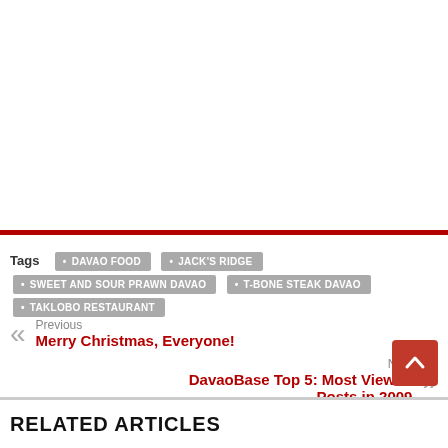Tags: DAVAO FOOD • JACK'S RIDGE • SWEET AND SOUR PRAWN DAVAO • T-BONE STEAK DAVAO • TAKLOBO RESTAURANT
Previous
Merry Christmas, Everyone!
Next
DavaoBase Top 5: Most Viewed Posts in 2009
RELATED ARTICLES